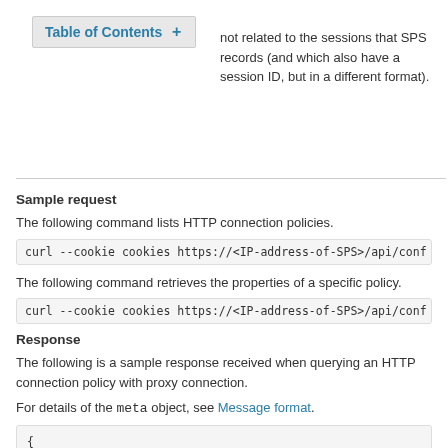Table of Contents +
not related to the sessions that SPS records (and which also have a session ID, but in a different format).
Sample request
The following command lists HTTP connection policies.
curl --cookie cookies https://<IP-address-of-SPS>/api/conf
The following command retrieves the properties of a specific policy.
curl --cookie cookies https://<IP-address-of-SPS>/api/conf
Response
The following is a sample response received when querying an HTTP connection policy with proxy connection.
For details of the meta object, see Message format.
{
    "key": "http-connection-simple-proxy",
    "body":